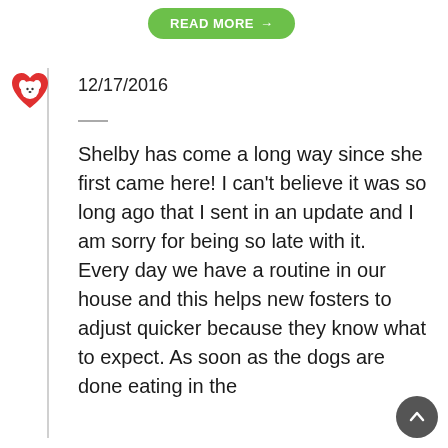[Figure (other): Green 'READ MORE →' button at top of page]
[Figure (illustration): Dog rescue organization avatar icon — red heart with white dog silhouette inside]
12/17/2016
Shelby has come a long way since she first came here!  I can't believe it was so long ago that I sent in an update and I am sorry for being so late with it.     Every day we have a routine in our house and this helps new fosters to adjust quicker because they know what to expect.  As soon as the dogs are done eating in the